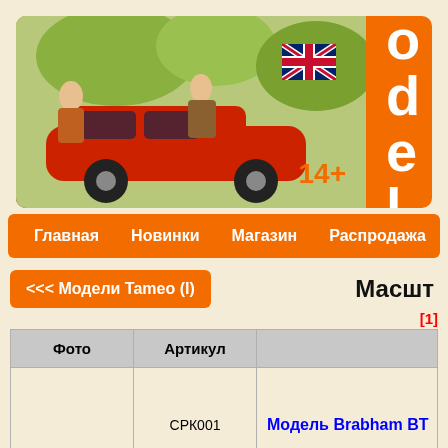[Figure (screenshot): Website header banner with orange background, vintage car illustration, UK flag, age badge 14+, and site title 'Model' in white bold spaced letters]
Главная   Новинки   Магазин   Распродажа   Опл...
<<< Модели Tameo (I)    Масшт...
[1]
| Фото | Артикул |  |
| --- | --- | --- |
|  | СРК001 | Модель Brabham BT... |
|  | СРК002 | Модель Lotus Ford 79 ... |